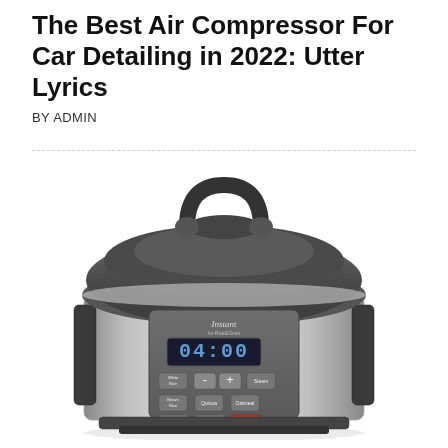The Best Air Compressor For Car Detailing in 2022: Utter Lyrics
BY ADMIN
[Figure (photo): Photo of an Instant Pot Rice & Grain cooker (stainless steel body with dark gray lid and handle) displaying 04:00 on its digital timer, with buttons for White Rice, Steam, Brown Rice, Quinoa, Oatmeal, Delay Start, Keep Warm, and Cancel.]